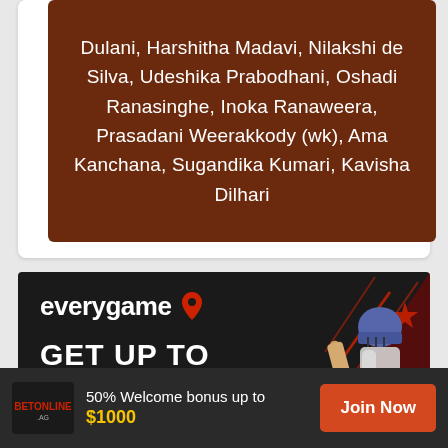Dulani, Harshitha Madavi, Nilakshi de Silva, Udeshika Prabodhani, Oshadi Ranasinghe, Inoka Ranaweera, Prasadani Weerakkody (wk), Ama Kanchana, Sugandika Kumari, Kavisha Dilhari
[Figure (infographic): Everygame sports betting advertisement banner with dark background, cricket player image on right, red star graphic, text reading 'everygame GET UP TO' with logo pin icon]
[Figure (infographic): BetOnline.ag notification bar at bottom with logo, text '50% Welcome bonus up to $1000' and 'Join Now' orange button]